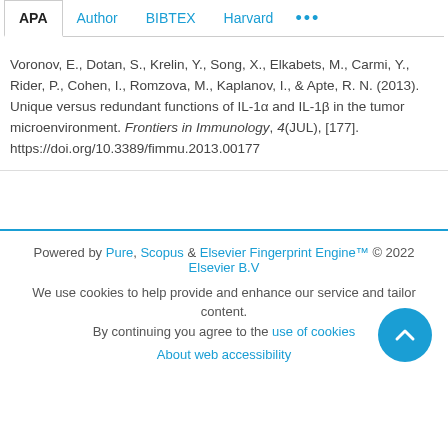APA | Author | BIBTEX | Harvard | ...
Voronov, E., Dotan, S., Krelin, Y., Song, X., Elkabets, M., Carmi, Y., Rider, P., Cohen, I., Romzova, M., Kaplanov, I., & Apte, R. N. (2013). Unique versus redundant functions of IL-1α and IL-1β in the tumor microenvironment. Frontiers in Immunology, 4(JUL), [177]. https://doi.org/10.3389/fimmu.2013.00177
Powered by Pure, Scopus & Elsevier Fingerprint Engine™ © 2022 Elsevier B.V
We use cookies to help provide and enhance our service and tailor content. By continuing you agree to the use of cookies
About web accessibility